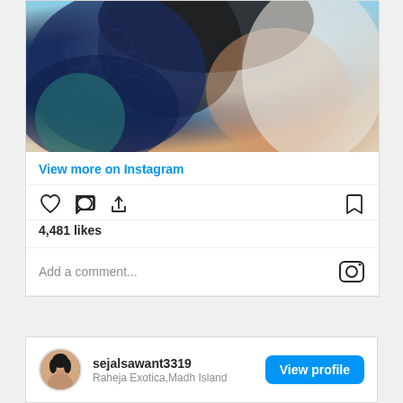[Figure (photo): Instagram post photo showing a woman wearing a navy blue lace shawl/accessory with dark hair, partial face view, blurred background]
View more on Instagram
[Figure (other): Instagram action icons: heart (like), comment bubble, share arrow on left; bookmark icon on right]
4,481 likes
Add a comment...
sejalsawant3319
Raheja Exotica,Madh Island
View profile